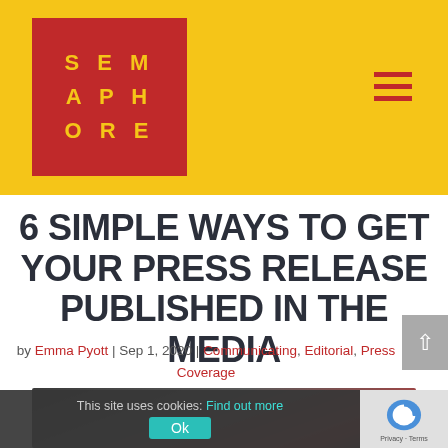SEMAPHORE
6 SIMPLE WAYS TO GET YOUR PRESS RELEASE PUBLISHED IN THE MEDIA
by Emma Pyott | Sep 1, 2020 | Communicating, Editorial, Press Coverage
[Figure (photo): Blurred close-up photo of a smartphone, partially visible at bottom of page]
This site uses cookies: Find out more Ok